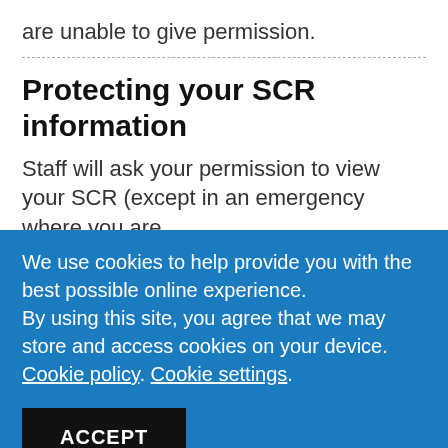are unable to give permission.
Protecting your SCR information
Staff will ask your permission to view your SCR (except in an emergency where you are
We use cookies to help provide you with the best possible online experience.
By using this site, you agree that we may store and access cookies on your device. Cookie policy. Cookie settings.
ACCEPT